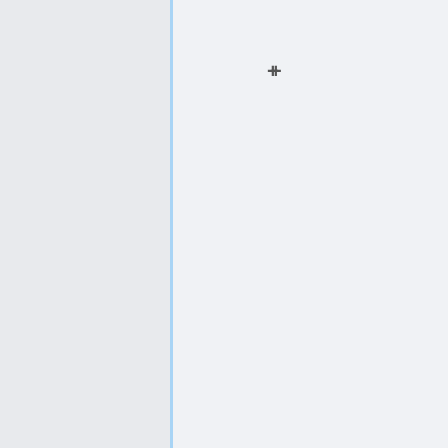Guide]] * Installing, upgrading, and maintaining WeBWorK installations.
* [[WeBWorK Problem Libraries]] -- A partial index to WeBWorK homework questions which have already been written.
* [[WeBWorK Problem Libraries]] -- A partial index to WeBWorK homework questions which have already been written.
* [[Writing WeBWorK questions]] -- Instructors: documents and examples on writing